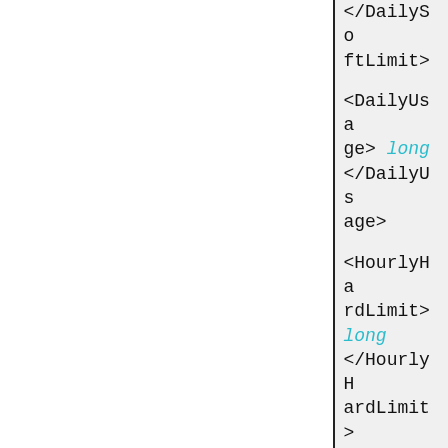</DailySoftLimit>

<DailyUsage> long </DailyUsage>

<HourlyHardLimit> long </HourlyHardLimit>

<HourlySoftLimit> long </HourlySoftLimit>

<HourlyUsage> long </HourlyU